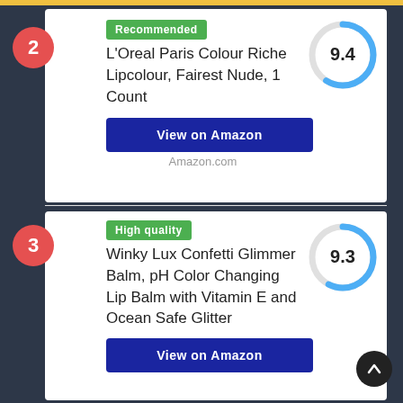2
Recommended
L'Oreal Paris Colour Riche Lipcolour, Fairest Nude, 1 Count
[Figure (donut-chart): Score]
View on Amazon
Amazon.com
3
High quality
Winky Lux Confetti Glimmer Balm, pH Color Changing Lip Balm with Vitamin E and Ocean Safe Glitter
[Figure (donut-chart): Score]
View on Amazon